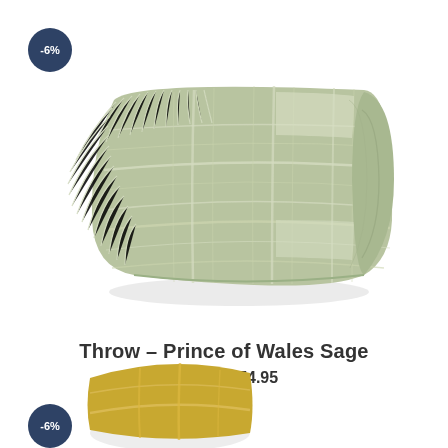[Figure (photo): Folded sage green plaid/Prince of Wales check wool throw with fringe, photographed on white background]
Throw – Prince of Wales Sage
£79.95 £74.95
[Figure (photo): Partial view of a second product with yellow/gold coloring, with -6% badge]